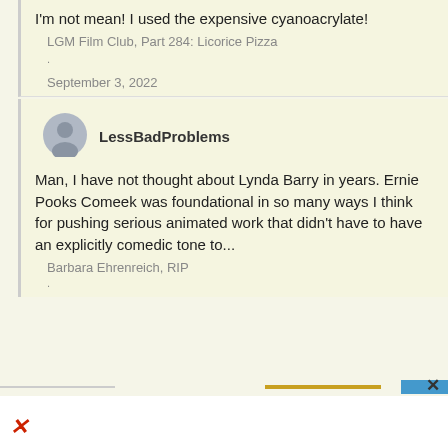I'm not mean! I used the expensive cyanoacrylate!
LGM Film Club, Part 284: Licorice Pizza
.
September 3, 2022
[Figure (illustration): User avatar - grey circle silhouette icon]
LessBadProblems
Man, I have not thought about Lynda Barry in years. Ernie Pooks Comeek was foundational in so many ways I think for pushing serious animated work that didn't have to have an explicitly comedic tone to...
Barbara Ehrenreich, RIP
.